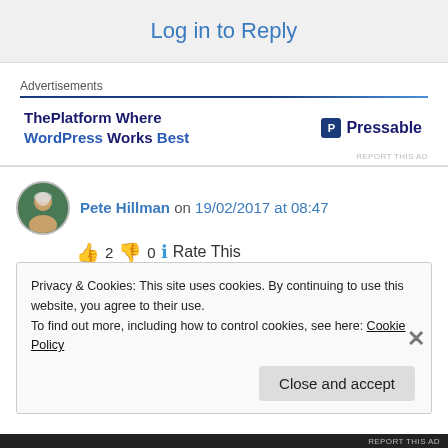Log in to Reply
Advertisements
[Figure (other): Pressable advertisement: ThePlatform Where WordPress Works Best]
Pete Hillman on 19/02/2017 at 08:47
👍 2 👎 0 ℹ Rate This
You have such a beautiful and imaginitive world
Privacy & Cookies: This site uses cookies. By continuing to use this website, you agree to their use.
To find out more, including how to control cookies, see here: Cookie Policy